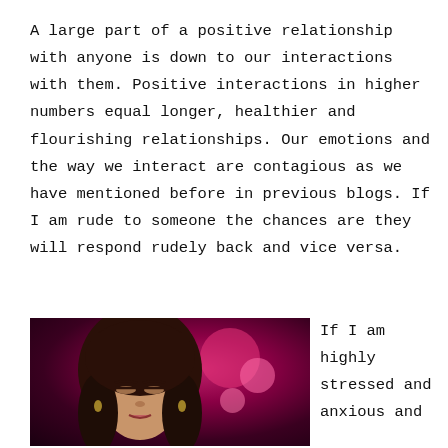A large part of a positive relationship with anyone is down to our interactions with them. Positive interactions in higher numbers equal longer, healthier and flourishing relationships. Our emotions and the way we interact are contagious as we have mentioned before in previous blogs. If I am rude to someone the chances are they will respond rudely back and vice versa.
[Figure (photo): A woman with long dark hair, eyes closed, photographed against a blurred pink and dark bokeh background.]
If I am highly stressed and anxious and